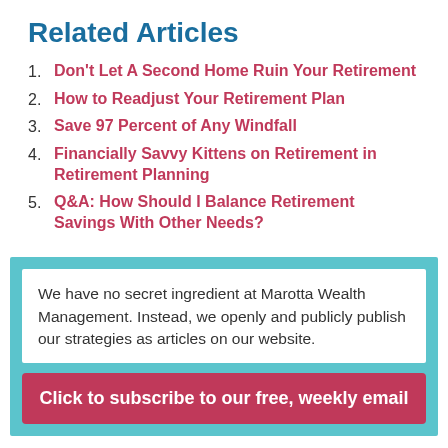Related Articles
Don't Let A Second Home Ruin Your Retirement
How to Readjust Your Retirement Plan
Save 97 Percent of Any Windfall
Financially Savvy Kittens on Retirement in Retirement Planning
Q&A: How Should I Balance Retirement Savings With Other Needs?
We have no secret ingredient at Marotta Wealth Management. Instead, we openly and publicly publish our strategies as articles on our website.
Click to subscribe to our free, weekly email